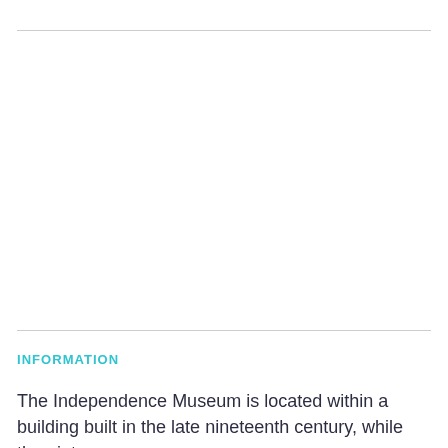INFORMATION
The Independence Museum is located within a building built in the late nineteenth century, while theaint